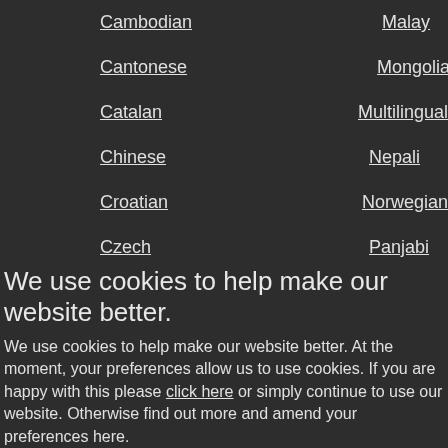Cambodian
Malay
Cantonese
Mongolian
Catalan
Multilingual
Chinese
Nepali
Croatian
Norwegian
Czech
Panjabi
We use cookies to help make our website better.
We use cookies to help make our website better. At the moment, your preferences allow us to use cookies. If you are happy with this please click here or simply continue to use our website. Otherwise find out more and amend your preferences here.